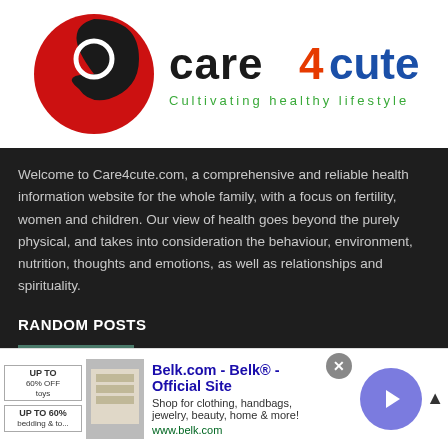[Figure (logo): Care4Cute logo with red and black circular icon and text 'care4cute' with tagline 'Cultivating healthy lifestyle']
Welcome to Care4cute.com, a comprehensive and reliable health information website for the whole family, with a focus on fertility, women and children. Our view of health goes beyond the purely physical, and takes into consideration the behaviour, environment, nutrition, thoughts and emotions, as well as relationships and spirituality.
RANDOM POSTS
[Figure (photo): A newborn baby crying, with infolinks badge overlay]
ఉదర స్తయని వల్ల రోగా, పుట్టిన పిల్ల !
[Figure (screenshot): Belk.com advertisement banner with product images, close button, and arrow navigation circle. Text: Belk.com - Belk® - Official Site, Shop for clothing, handbags, jewelry, beauty, home & more!, www.belk.com]